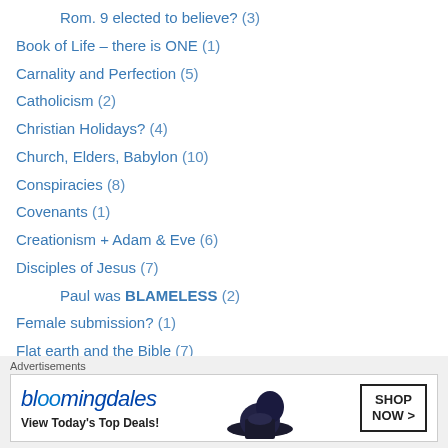Rom. 9 elected to believe? (3)
Book of Life – there is ONE (1)
Carnality and Perfection (5)
Catholicism (2)
Christian Holidays? (4)
Church, Elders, Babylon (10)
Conspiracies (8)
Covenants (1)
Creationism + Adam & Eve (6)
Disciples of Jesus (7)
Paul was BLAMELESS (2)
Female submission? (1)
Flat earth and the Bible (7)
GRACE is conditional (3)
Gun laws and control? (8)
Hell (1)
[Figure (screenshot): Bloomingdales advertisement banner: 'bloomingdales View Today's Top Deals! SHOP NOW >']